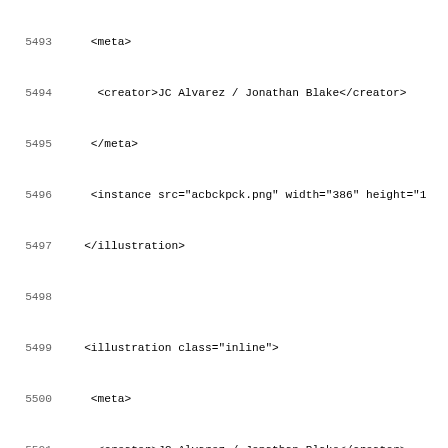Source code listing lines 5493-5524, XML markup content including illustration, meta, creator, instance, and list elements